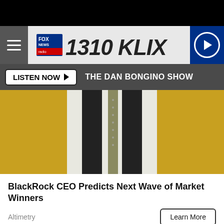[Figure (screenshot): Top black bar area]
FOX NEWS radio 1310 KLIX
LISTEN NOW ▶  THE DAN BONGINO SHOW
[Figure (photo): Cropped photo of a person in a dark vest and white shirt with a dotted tie, yellow background]
BlackRock CEO Predicts Next Wave of Market Winners
Altimetry
Learn More
[Figure (photo): Close-up photo of a tabby cat with green eyes, white whiskers, and pink nose against a blue-gray background]